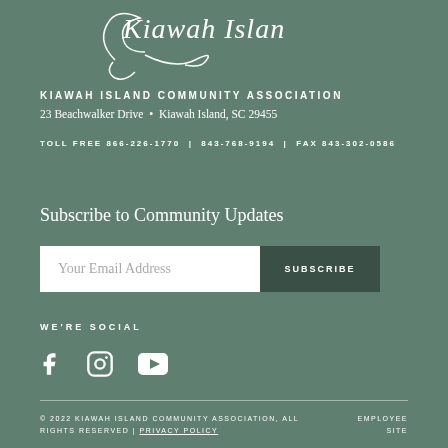[Figure (logo): Kiawah Island cursive script logo in white]
KIAWAH ISLAND COMMUNITY ASSOCIATION
23 Beachwalker Drive • Kiawah Island, SC 29455
TOLL FREE 866-226-1770 | 843-768-9194 | FAX 843-302-0586
Subscribe to Community Updates
Your Email Address  SUBSCRIBE
WE'RE SOCIAL
[Figure (illustration): Social media icons: Facebook, Instagram, YouTube]
© 2022 KIAWAH ISLAND COMMUNITY ASSOCIATION, ALL RIGHTS RESERVED | PRIVACY POLICY   EMPLOYEE SITE